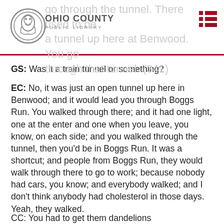OHIO COUNTY PUBLIC LIBRARY
GS: Was it a train tunnel or something?
EC: No, it was just an open tunnel up here in Benwood; and it would lead you through Boggs Run. You walked through there; and it had one light, one at the enter and one when you leave, you know, on each side; and you walked through the tunnel, then you'd be in Boggs Run. It was a shortcut; and people from Boggs Run, they would walk through there to go to work; because nobody had cars, you know; and everybody walked; and I don't think anybody had cholesterol in those days. Yeah, they walked.
CC: You had to get them dandelions